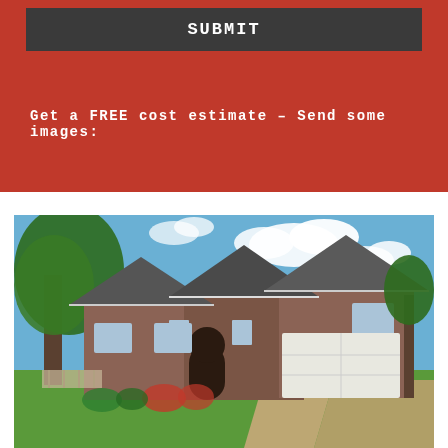SUBMIT
Get a FREE cost estimate – Send some images:
[Figure (photo): Exterior photo of a brick suburban house with gabled roofline, arched entryway, two-car garage, green lawn, large trees, and blue sky with clouds.]